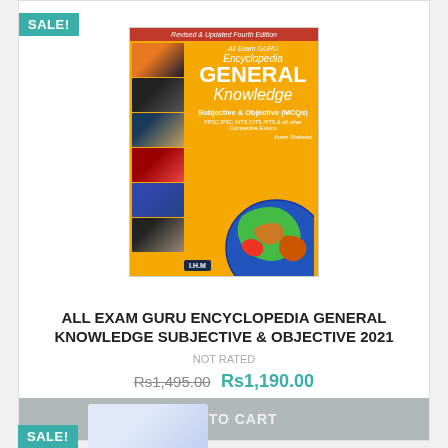[Figure (illustration): Book cover of All Exam Guru Encyclopedia General Knowledge Subjective & Objective (MCQs), Revised & Updated Fourth Edition, with globe and photo strips on yellow/orange background]
ALL EXAM GURU ENCYCLOPEDIA GENERAL KNOWLEDGE SUBJECTIVE & OBJECTIVE 2021
NOT RATED
Rs1,495.00 Rs1,190.00
ADD TO CART